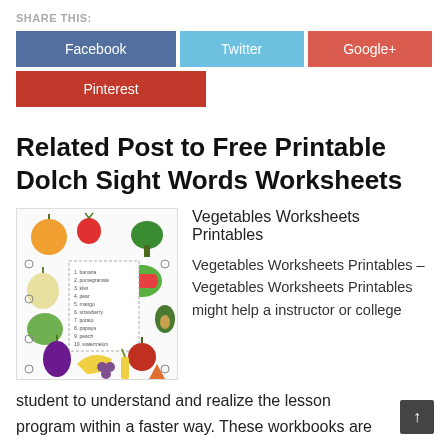SHARE THIS:
Facebook
Twitter
Google+
Pinterest
Related Post to Free Printable Dolch Sight Words Worksheets
[Figure (illustration): Thumbnail image of a vegetables worksheets printable showing various fruits and vegetables with a numbered list in the center.]
Vegetables Worksheets Printables
Vegetables Worksheets Printables – Vegetables Worksheets Printables might help a instructor or college student to understand and realize the lesson program within a faster way. These workbooks are